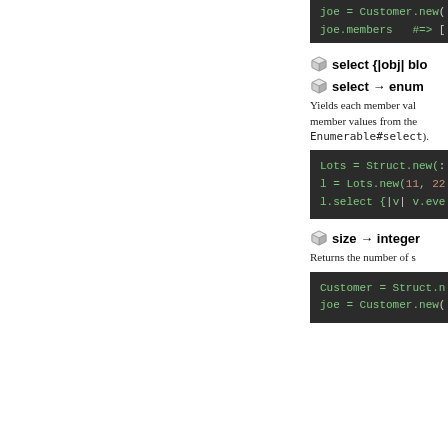[Figure (screenshot): Code block showing: joe = Customer.new( / joe.members   #=> []
select {|obj| block}
select → enum
Yields each member value from the struct to the block and returns an Array of member values from the struct for which the block returns a true value (equivalent to Enumerable#select).
[Figure (screenshot): Code block showing: Lots = Struct.new(: / l = Lots.new(11, 22 / l.select {|v| v.eve]
size → integer
Returns the number of s
[Figure (screenshot): Code block showing: Customer = Struct.n / joe = Customer.new(]